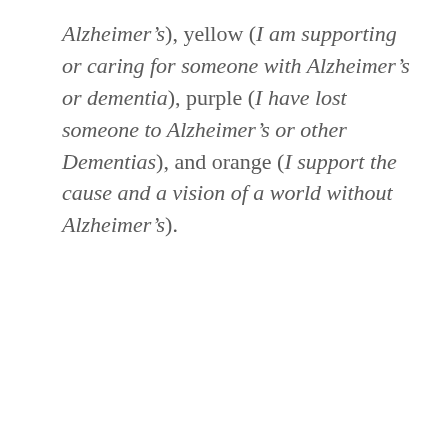Alzheimer's), yellow (I am supporting or caring for someone with Alzheimer's or dementia), purple (I have lost someone to Alzheimer's or other Dementias), and orange (I support the cause and a vision of a world without Alzheimer's).